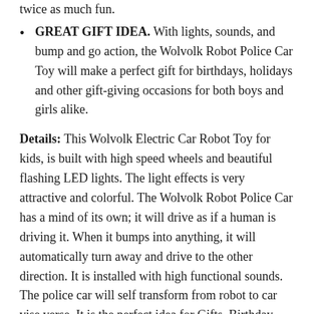twice as much fun.
GREAT GIFT IDEA. With lights, sounds, and bump and go action, the Wolvolk Robot Police Car Toy will make a perfect gift for birthdays, holidays and other gift-giving occasions for both boys and girls alike.
Details: This Wolvolk Electric Car Robot Toy for kids, is built with high speed wheels and beautiful flashing LED lights. The light effects is very attractive and colorful. The Wolvolk Robot Police Car has a mind of its own; it will drive as if a human is driving it. When it bumps into anything, it will automatically turn away and drive to the other direction. It is installed with high functional sounds. The police car will self transform from robot to car vise verse. It is the perfect idea for Gifts, Birthday Presents, Christmas Gifts, etc.
UPC: 712038654826